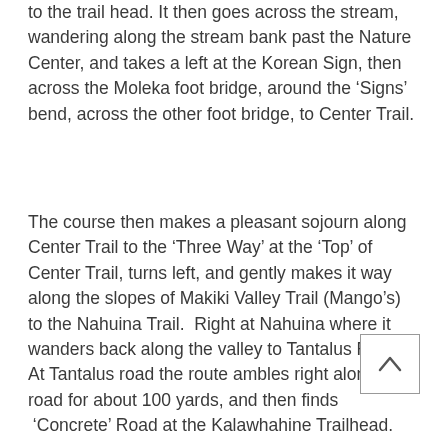to the trail head. It then goes across the stream, wandering along the stream bank past the Nature Center, and takes a left at the Korean Sign, then across the Moleka foot bridge, around the ‘Signs’ bend, across the other foot bridge, to Center Trail.
The course then makes a pleasant sojourn along Center Trail to the ‘Three Way’ at the ‘Top’ of Center Trail, turns left, and gently makes it way along the slopes of Makiki Valley Trail (Mango’s) to the Nahuina Trail.  Right at Nahuina where it wanders back along the valley to Tantalus Road.   At Tantalus road the route ambles right along the road for about 100 yards, and then finds  ‘Concrete’ Road at the Kalawhahine Trailhead.